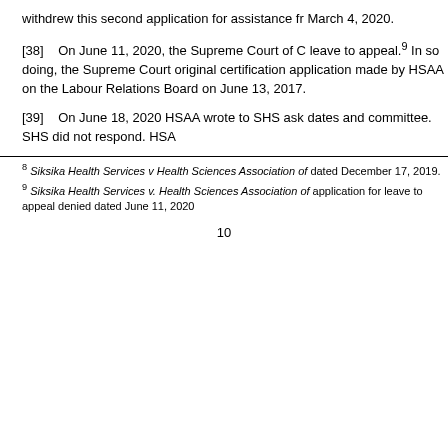withdrew this second application for assistance from March 4, 2020.
[38]    On June 11, 2020, the Supreme Court of Canada denied leave to appeal.⁹ In so doing, the Supreme Court restored the original certification application made by HSAA on June 13, 2017 to the Labour Relations Board on June 13, 2017.
[39]    On June 18, 2020 HSAA wrote to SHS asking to confirm dates and committee. SHS did not respond. HSAA…
8 Siksika Health Services v Health Sciences Association of… dated December 17, 2019.
9 Siksika Health Services v. Health Sciences Association of… application for leave to appeal denied dated June 11, 2020
10